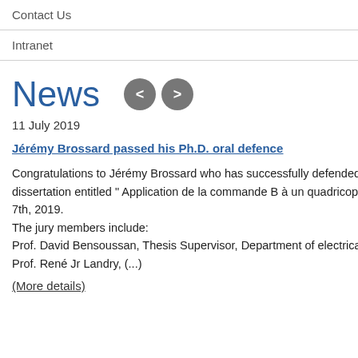Contact Us
Intranet
News
11 July 2019
Jérémy Brossard passed his Ph.D. oral defence
Congratulations to Jérémy Brossard who has successfully defended his Ph.D. dissertation entitled " Application de la commande B à un quadricoptère " , the June 7th, 2019.
The jury members include:
Prof. David Bensoussan, Thesis Supervisor, Department of electrical engineering, ÉTS
Prof. René Jr Landry, (...)
(More details)
| Field | Value |
| --- | --- |
| Conference | IEE... |
| Date | 27-... |
| Place | Chi... |
| Status | Acc... |
| URL | http... |
| Date of first entry | Feb... |
| Date of last update | Jun... |
| Publication | Gen... alg... (Ac... |